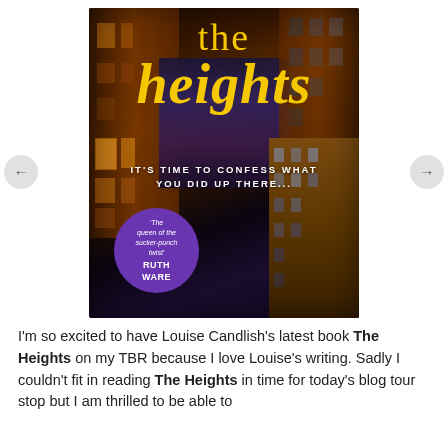[Figure (illustration): Book cover of 'The Heights' by Louise Candlish. Dark background showing tall city buildings viewed from below. Large yellow/gold title text reading 'the heights' in serif italic. White tagline text: 'IT'S TIME TO CONFESS WHAT YOU DID UP THERE...' A purple circular badge with white text reads: 'The queen of the sucker-punch twist' RUTH WARE. Navigation arrows (← →) appear on the left and right sides of the image.]
I'm so excited to have Louise Candlish's latest book The Heights on my TBR because I love Louise's writing. Sadly I couldn't fit in reading The Heights in time for today's blog tour stop but I am thrilled to be able to